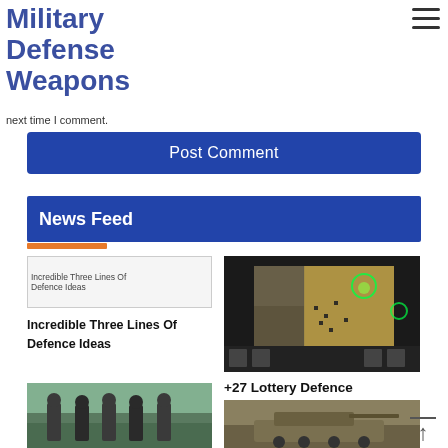Military Defense Weapons
next time I comment.
Post Comment
News Feed
[Figure (photo): Placeholder image for Incredible Three Lines Of Defence Ideas article]
Incredible Three Lines Of Defence Ideas
[Figure (screenshot): Screenshot of a strategy game showing military units on a map — +27 Lottery Defence References]
+27 Lottery Defence References
[Figure (photo): Photo of military personnel in camouflage uniforms standing in a group]
[Figure (photo): Photo of military vehicle or equipment]